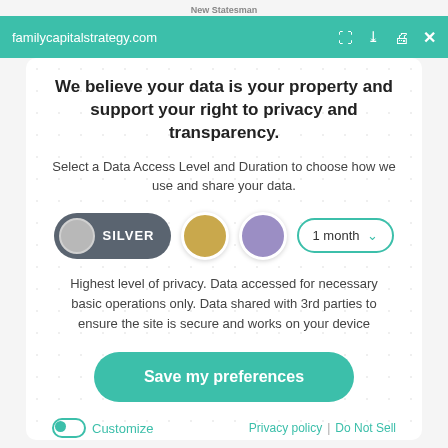New Statesman
familycapitalstrategy.com
We believe your data is your property and support your right to privacy and transparency.
Select a Data Access Level and Duration to choose how we use and share your data.
[Figure (infographic): Privacy level selector row with Silver pill button selected, a gold circle, a purple circle, and a 1 month dropdown]
Highest level of privacy. Data accessed for necessary basic operations only. Data shared with 3rd parties to ensure the site is secure and works on your device
[Figure (other): Save my preferences button — teal rounded rectangle button]
Customize
Privacy policy | Do Not Sell